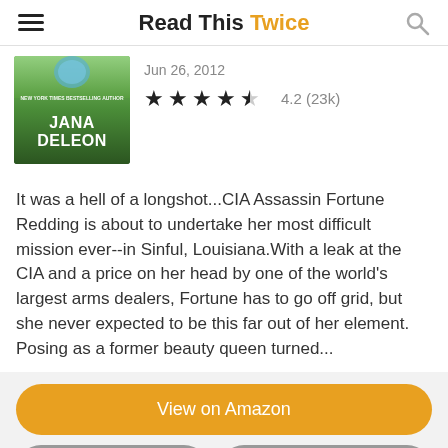Read This Twice
[Figure (photo): Book cover for a Jana DeLeon novel, green background with author name 'JANA DELEON' and 'NEW YORK TIMES BESTSELLING AUTHOR' badge]
Jun 26, 2012
★★★★½  4.2 (23k)
It was a hell of a longshot...CIA Assassin Fortune Redding is about to undertake her most difficult mission ever--in Sinful, Louisiana.With a leak at the CIA and a price on her head by one of the world's largest arms dealers, Fortune has to go off grid, but she never expected to be this far out of her element. Posing as a former beauty queen turned...
View on Amazon
View Details
Add to library